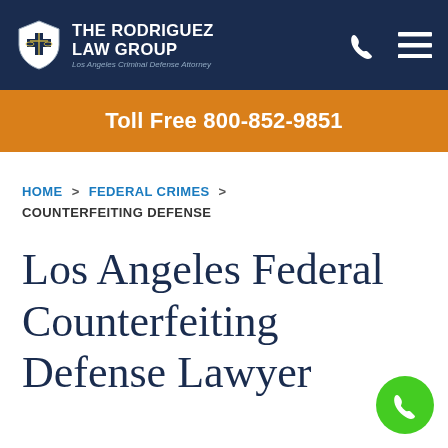The Rodriguez Law Group — Los Angeles Criminal Defense Attorney
Toll Free 800-852-9851
HOME > FEDERAL CRIMES > COUNTERFEITING DEFENSE
Los Angeles Federal Counterfeiting Defense Lawyer